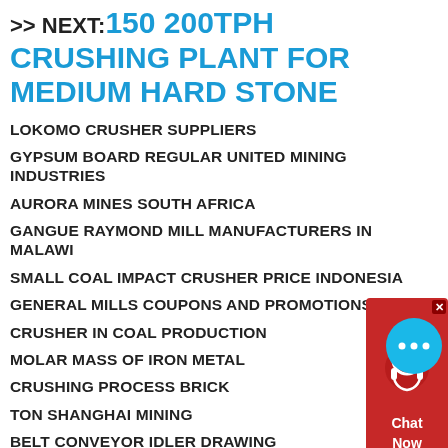>> NEXT: 150 200TPH CRUSHING PLANT FOR MEDIUM HARD STONE
LOKOMO CRUSHER SUPPLIERS
GYPSUM BOARD REGULAR UNITED MINING INDUSTRIES
AURORA MINES SOUTH AFRICA
GANGUE RAYMOND MILL MANUFACTURERS IN MALAWI
SMALL COAL IMPACT CRUSHER PRICE INDONESIA
GENERAL MILLS COUPONS AND PROMOTIONS
CRUSHER IN COAL PRODUCTION
MOLAR MASS OF IRON METAL
CRUSHING PROCESS BRICK
TON SHANGHAI MINING
BELT CONVEYOR IDLER DRAWING
[Figure (other): Chat widget: circular cyan chat bubble button with ellipsis icon, and a red chat popup panel with headset icon and 'Chat Now' text]